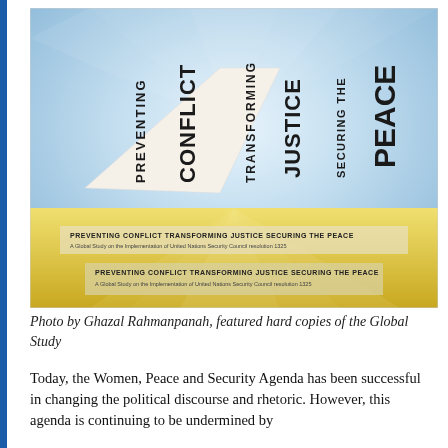[Figure (photo): Photo showing hard copies of the Global Study book titled 'Preventing Conflict Transforming Justice Securing the Peace'. The book cover features large bold vertical text of the title words against a light radiating background. The bottom of the image shows the book's subtitle text twice: 'PREVENTING CONFLICT TRANSFORMING JUSTICE SECURING THE PEACE – A Global Study on the Implementation of United Nations Security Council resolution 1325'.]
Photo by Ghazal Rahmanpanah, featured hard copies of the Global Study
Today, the Women, Peace and Security Agenda has been successful in changing the political discourse and rhetoric. However, this agenda is continuing to be undermined by